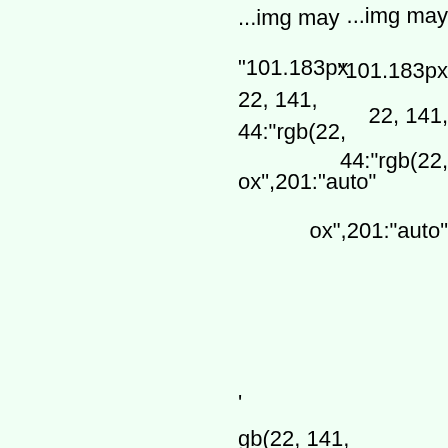...img may
"101.183px
22, 141,
44:"rgb(22,
ox",201:"auto"
,
gb(22, 141,
22, 141,
44:"rgb(22,
ox",201:"auto"